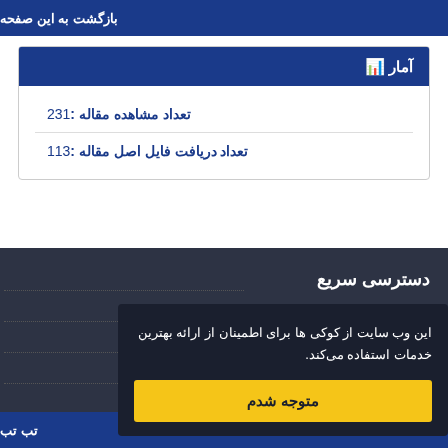بازگشت به این صفحه
آمار
تعداد مشاهده مقاله : 231
تعداد دریافت فایل اصل مقاله : 113
دسترسی سریع
این وب سایت از کوکی ها برای اطمینان از ارائه بهترین خدمات استفاده می کند.
متوجه شدم
تب تب